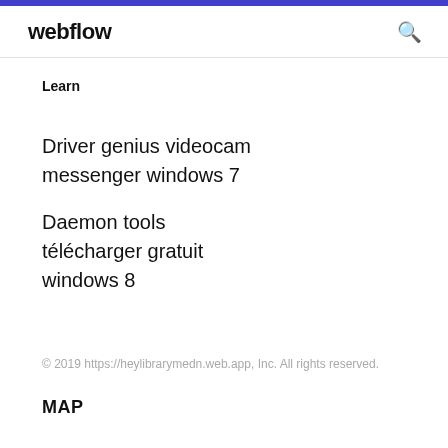webflow
Learn
Driver genius videocam messenger windows 7
Daemon tools télécharger gratuit windows 8
© 2019 https://heylibrarymedn.web.app, Inc. All rights reserved.
MAP